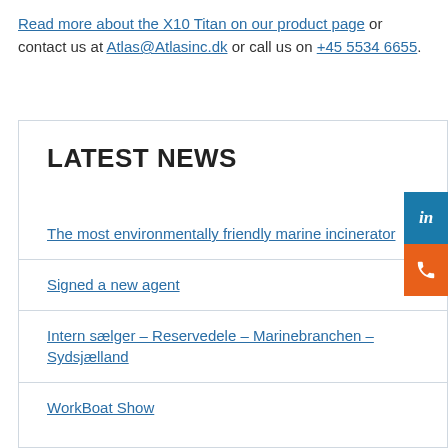Read more about the X10 Titan on our product page or contact us at Atlas@Atlasinc.dk or call us on +45 5534 6655.
LATEST NEWS
The most environmentally friendly marine incinerator
Signed a new agent
Intern sælger – Reservedele – Marinebranchen – Sydsjælland
WorkBoat Show